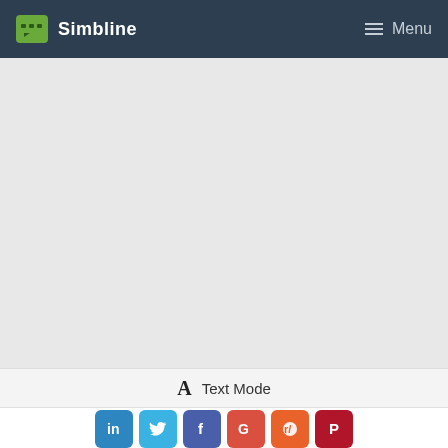Simbline  Menu
[Figure (screenshot): Large empty gray content area below the header navigation bar]
A  Text Mode
[Figure (infographic): Social sharing buttons row: LinkedIn (blue), Twitter (light blue), Facebook (dark blue), Google (red), Reddit (orange), Pinterest (dark red)]